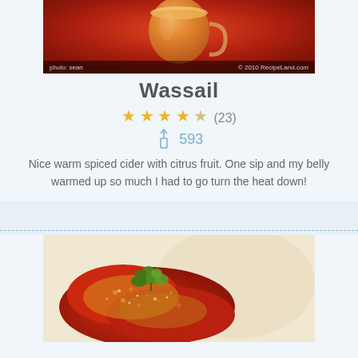[Figure (photo): Top portion of a warm spiced cider drink in a glass mug on a red background, with photo credit 'photo: sean' and '© 2010 RecipeLand.com']
Wassail
★★★★☆ (23)
593
Nice warm spiced cider with citrus fruit. One sip and my belly warmed up so much I had to go turn the heat down!
[Figure (photo): Close-up of a red tomato-based dish topped with breadcrumbs and garnished with fresh parsley]